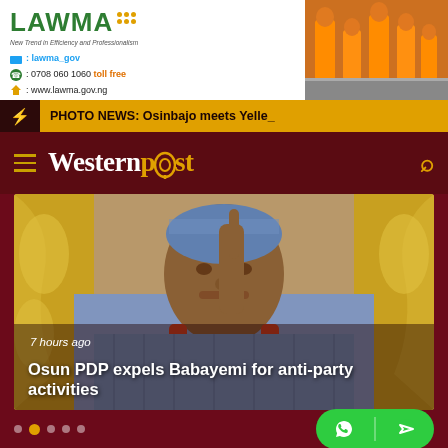[Figure (photo): LAWMA advertisement banner - Keeping Lagos Clean! with workers in orange uniforms. Logo, social media handles: lawma_gov, phone 0708 060 1060 toll free, website www.lawma.gov.ng]
PHOTO NEWS: Osinbajo meets Yelle_
Westernpost
[Figure (photo): Man in blue agbada attire with coral beads, pointing finger upward, seated in front of gold ornate chair. Hero image for news story.]
7 hours ago
Osun PDP expels Babayemi for anti-party activities